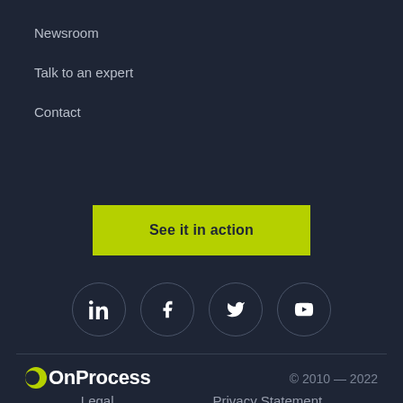Newsroom
Talk to an expert
Contact
[Figure (other): Green call-to-action button labeled 'See it in action']
[Figure (other): Social media icons in circles: LinkedIn, Facebook, Twitter, YouTube]
[Figure (logo): OnProcess logo with yellow-green semicircle icon]
© 2010 — 2022
Legal    Privacy Statement